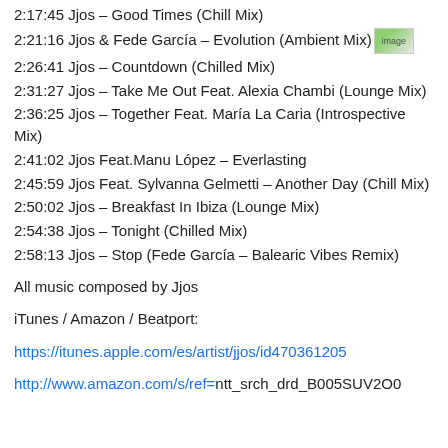2:17:45 Jjos – Good Times (Chill Mix)
2:21:16 Jjos & Fede García – Evolution (Ambient Mix)
2:26:41 Jjos – Countdown (Chilled Mix)
2:31:27 Jjos – Take Me Out Feat. Alexia Chambi (Lounge Mix)
2:36:25 Jjos – Together Feat. María La Caria (Introspective Mix)
2:41:02 Jjos Feat.Manu López – Everlasting
2:45:59 Jjos Feat. Sylvanna Gelmetti – Another Day (Chill Mix)
2:50:02 Jjos – Breakfast In Ibiza (Lounge Mix)
2:54:38 Jjos – Tonight (Chilled Mix)
2:58:13 Jjos – Stop (Fede García – Balearic Vibes Remix)
All music composed by Jjos
iTunes / Amazon / Beatport:
https://itunes.apple.com/es/artist/jjos/id470361205
http://www.amazon.com/s/ref=ntt_srch_drd_B005SUV2O0